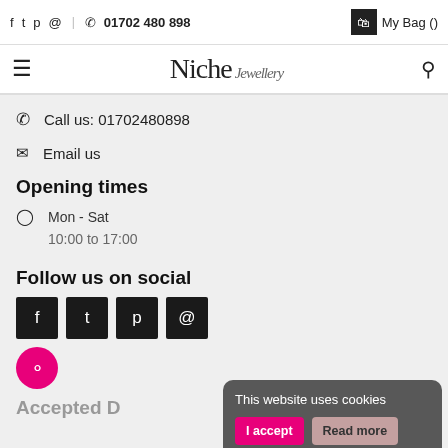f  Twitter  Pinterest  Instagram  |  01702 480 898  My Bag ()
Niche Jewellery
Call us: 01702480898
Email us
Opening times
Mon - Sat
10:00 to 17:00
Follow us on social
[Figure (other): Social media icons: Facebook, Twitter, Pinterest, Instagram (black squares), plus a pink chat bubble icon]
Accepted D...
This website uses cookies  I accept  Read more